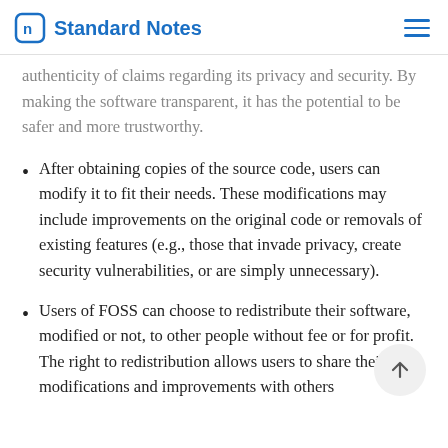Standard Notes
authenticity of claims regarding its privacy and security. By making the software transparent, it has the potential to be safer and more trustworthy.
After obtaining copies of the source code, users can modify it to fit their needs. These modifications may include improvements on the original code or removals of existing features (e.g., those that invade privacy, create security vulnerabilities, or are simply unnecessary).
Users of FOSS can choose to redistribute their software, modified or not, to other people without fee or for profit. The right to redistribution allows users to share their modifications and improvements with others